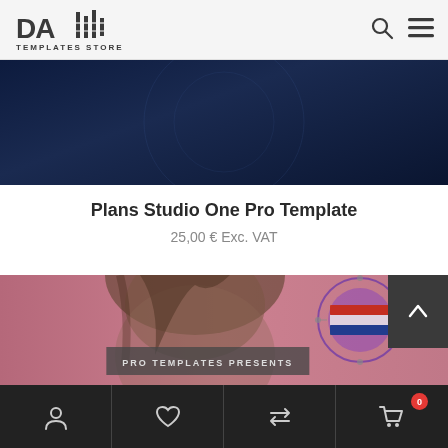DA Templates Store — navigation header with logo, search icon, and menu icon
[Figure (photo): Dark navy blue banner/hero image area, partially visible]
Plans Studio One Pro Template
25,00 € Exc. VAT
[Figure (screenshot): Preview image showing a person with pink/mauve background and text overlay reading 'PRO TEMPLATES PRESENTS', with a circular graphic element on the right and a dark scroll-up arrow button]
Bottom navigation bar with account, wishlist, compare, and cart (0) icons